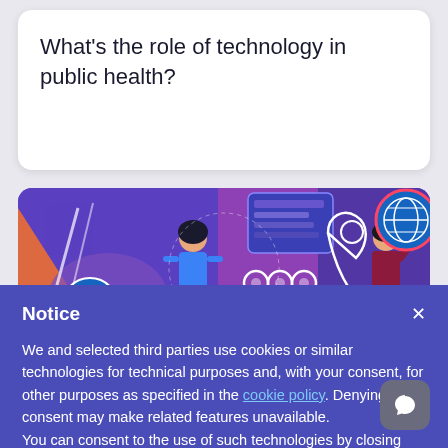What’s the role of technology in public health?
[Figure (illustration): Colorful illustrated banner showing two people interacting with digital technology elements including location pins, globe icons, and digital interface panels on a purple/blue/orange background]
Notice
We and selected third parties use cookies or similar technologies for technical purposes and, with your consent, for other purposes as specified in the cookie policy. Denying consent may make related features unavailable.
You can consent to the use of such technologies by closing this notice, by scrolling this page, by interacting with any link or button outside of this notice or by continuing to browse otherwise.